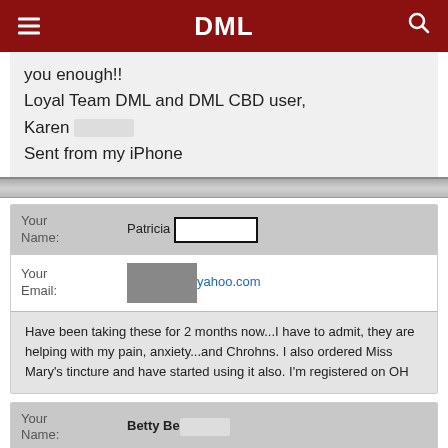DML
you enough!!
Loyal Team DML and DML CBD user,
Karen [redacted]
Sent from my iPhone
| Your Name: | Patricia [redacted] |
| --- | --- |
| Your Email: | [redacted]yahoo.com |
|  | Have been taking these for 2 months now...I have to admit, they are helping with my pain, anxiety...and Chrohns. I also ordered Miss Mary's tincture and have started using it also. I'm registered on OH |
| Your Name: | Betty Be[redacted] |
| --- | --- |
| Your Email: | rs@earthlink.net |